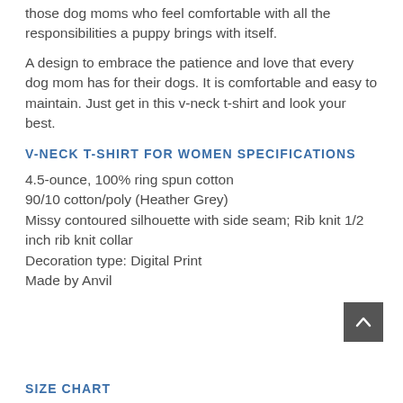those dog moms who feel comfortable with all the responsibilities a puppy brings with itself.
A design to embrace the patience and love that every dog mom has for their dogs. It is comfortable and easy to maintain. Just get in this v-neck t-shirt and look your best.
V-NECK T-SHIRT FOR WOMEN SPECIFICATIONS
4.5-ounce, 100% ring spun cotton
90/10 cotton/poly (Heather Grey)
Missy contoured silhouette with side seam; Rib knit 1/2 inch rib knit collar
Decoration type: Digital Print
Made by Anvil
SIZE CHART